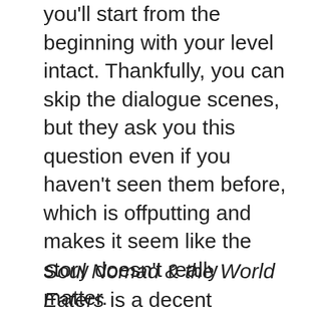you'll start from the beginning with your level intact. Thankfully, you can skip the dialogue scenes, but they ask you this question even if you haven't seen them before, which is offputting and makes it seem like the story doesn't really matter.
Soul Nomad & the World Eaters is a decent